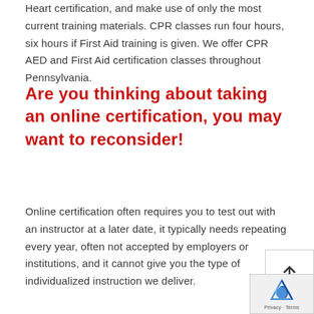Heart certification, and make use of only the most current training materials. CPR classes run four hours, six hours if First Aid training is given. We offer CPR AED and First Aid certification classes throughout Pennsylvania.
Are you thinking about taking an online certification, you may want to reconsider!
Online certification often requires you to test out with an instructor at a later date, it typically needs repeating every year, often not accepted by employers or institutions, and it cannot give you the type of individualized instruction we deliver.